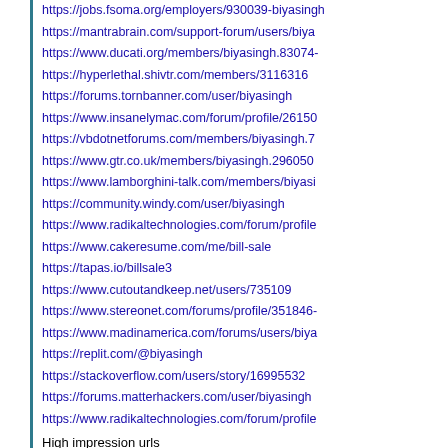https://jobs.fsoma.org/employers/930039-biyasingh
https://mantrabrain.com/support-forum/users/biya
https://www.ducati.org/members/biyasingh.83074
https://hyperlethal.shivtr.com/members/3116316
https://forums.tornbanner.com/user/biyasingh
https://www.insanelymac.com/forum/profile/26150
https://vbdotnetforums.com/members/biyasingh.7
https://www.gtr.co.uk/members/biyasingh.296050
https://www.lamborghini-talk.com/members/biyasi
https://community.windy.com/user/biyasingh
https://www.radikaltechnologies.com/forum/profile
https://www.cakeresume.com/me/bill-sale
https://tapas.io/billsale3
https://www.cutoutandkeep.net/users/735109
https://www.stereonet.com/forums/profile/351846-
https://www.madinamerica.com/forums/users/biya
https://replit.com/@biyasingh
https://stackoverflow.com/users/story/16995532
https://forums.matterhackers.com/user/biyasingh
https://www.radikaltechnologies.com/forum/profile
High impression urls
https://www.artistsandillustrators.co.uk/gyansingh
http://www.shadowera.com/member.php?116034-
http://projects.umwhistory.org/cwh/myomeka/post
https://www.feedsfloor.com/profile/gyansingh